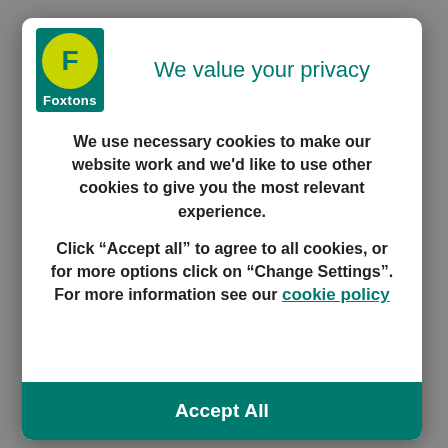[Figure (logo): Foxtons logo: green rectangle with yellow circle containing green F letter, and 'Foxtons' text below in white]
We value your privacy
We use necessary cookies to make our website work and we'd like to use other cookies to give you the most relevant experience.
Click “Accept all” to agree to all cookies, or for more options click on “Change Settings”. For more information see our cookie policy